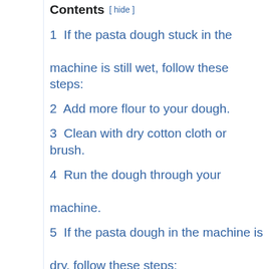Contents [ hide ]
1  If the pasta dough stuck in the machine is still wet, follow these steps:
2  Add more flour to your dough.
3  Clean with dry cotton cloth or brush.
4  Run the dough through your machine.
5  If the pasta dough in the machine is dry, follow these steps:
6  Make a small batch of pasta dough